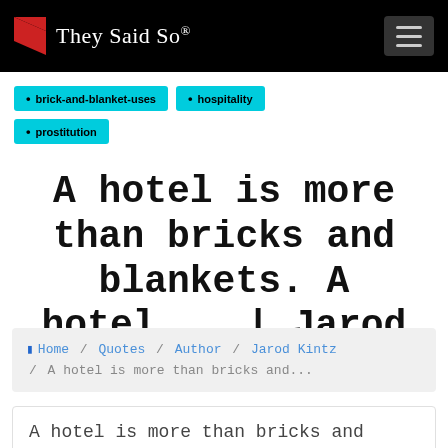They Said So®
brick-and-blanket-uses
hospitality
prostitution
A hotel is more than bricks and blankets. A hotel... | Jarod Kintz
Home / Quotes / Author / Jarod Kintz / A hotel is more than bricks and...
A hotel is more than bricks and